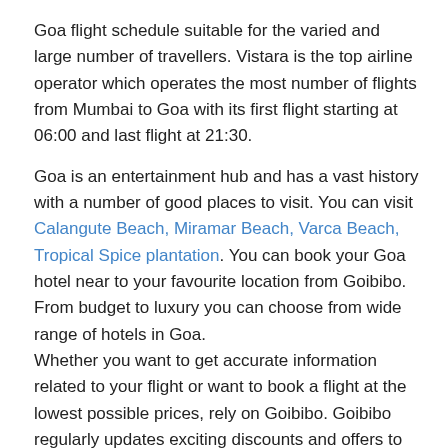Goa flight schedule suitable for the varied and large number of travellers. Vistara is the top airline operator which operates the most number of flights from Mumbai to Goa with its first flight starting at 06:00 and last flight at 21:30.
Goa is an entertainment hub and has a vast history with a number of good places to visit. You can visit Calangute Beach, Miramar Beach, Varca Beach, Tropical Spice plantation. You can book your Goa hotel near to your favourite location from Goibibo. From budget to luxury you can choose from wide range of hotels in Goa.
Whether you want to get accurate information related to your flight or want to book a flight at the lowest possible prices, rely on Goibibo. Goibibo regularly updates exciting discounts and offers to make it easier for travellers to get their flights booked at unbelievable prices. You can book your Mumbai to Goa flight at cheapest price. The average fare for Mumbai to Goa flight is ₹3213. You have to board your Mumbai to Goa flight from the Mumbai Airport and deboard it at Goa International Airport.
How to travel safe from Mumbai to Goa during Covid